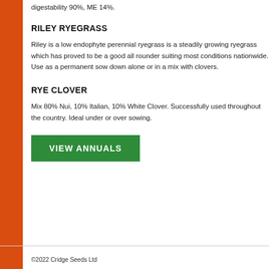digestability 90%, ME 14%.
RILEY RYEGRASS
Riley is a low endophyte perennial ryegrass is a steadily growing ryegrass which has proved to be a good all rounder suiting most conditions nationwide. Use as a permanent sow down alone or in a mix with clovers.
RYE CLOVER
Mix 80% Nui, 10% Italian, 10% White Clover. Successfully used throughout the country. Ideal under or over sowing.
[Figure (other): Green button labeled VIEW ANNUALS]
©2022 Cridge Seeds Ltd